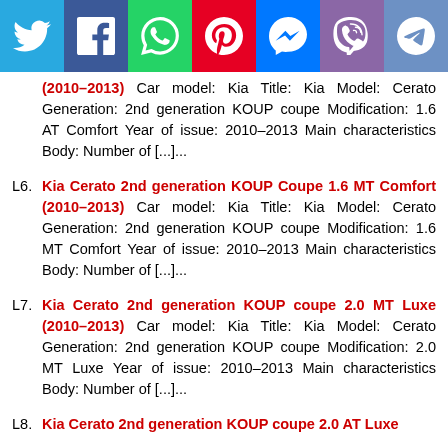[Figure (infographic): Social media sharing bar with 7 icons: Twitter (blue), Facebook (dark blue), WhatsApp (green), Pinterest (red), Messenger (blue), Viber (purple), Telegram (light blue)]
(2010–2013) Car model: Kia Title: Kia Model: Cerato Generation: 2nd generation KOUP coupe Modification: 1.6 AT Comfort Year of issue: 2010–2013 Main characteristics Body: Number of [...]...
L6. Kia Cerato 2nd generation KOUP Coupe 1.6 MT Comfort (2010–2013) Car model: Kia Title: Kia Model: Cerato Generation: 2nd generation KOUP coupe Modification: 1.6 MT Comfort Year of issue: 2010–2013 Main characteristics Body: Number of [...]...
L7. Kia Cerato 2nd generation KOUP coupe 2.0 MT Luxe (2010–2013) Car model: Kia Title: Kia Model: Cerato Generation: 2nd generation KOUP coupe Modification: 2.0 MT Luxe Year of issue: 2010–2013 Main characteristics Body: Number of [...]...
L8. Kia Cerato 2nd generation KOUP coupe 2.0 AT Luxe